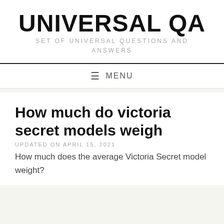UNIVERSAL QA
SET OF UNIVERSAL QUESTIONS AND ANSWERS
≡ MENU
How much do victoria secret models weigh
UPDATED ON APRIL 15, 2021
How much does the average Victoria Secret model weight?